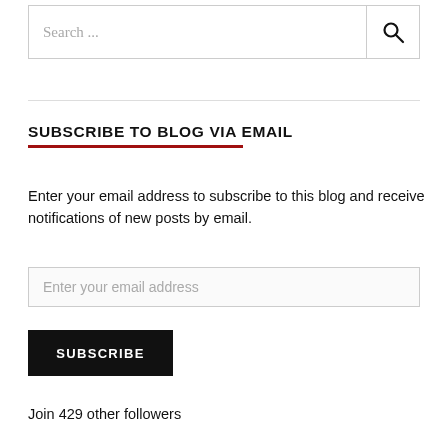[Figure (other): Search input box with placeholder text 'Search ...' and a magnifying glass icon on the right]
SUBSCRIBE TO BLOG VIA EMAIL
Enter your email address to subscribe to this blog and receive notifications of new posts by email.
[Figure (other): Email address input field with placeholder 'Enter your email address']
[Figure (other): Black SUBSCRIBE button]
Join 429 other followers